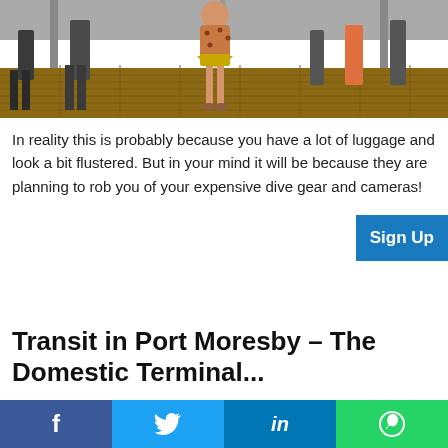[Figure (photo): People walking on a wooden boardwalk or terminal floor, seen from below waist level. A girl in a floral dress and yellow skirt is visible in the center.]
In reality this is probably because you have a lot of luggage and look a bit flustered. But in your mind it will be because they are planning to rob you of your expensive dive gear and cameras!
Transit in Port Moresby – The Domestic Terminal...
Having made the short transfer you enter the often chaotic domestic terminal. Usually it is